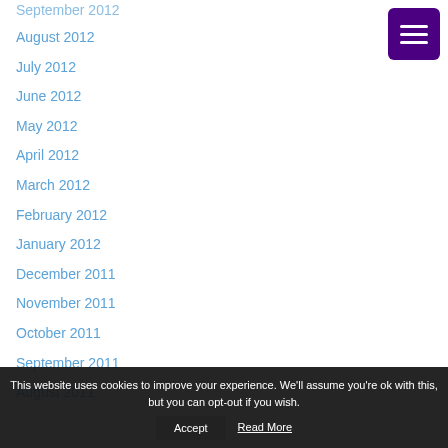September 2012
August 2012
July 2012
June 2012
May 2012
April 2012
March 2012
February 2012
January 2012
December 2011
November 2011
October 2011
September 2011
August 2011
[Figure (other): Purple hamburger menu button with three white horizontal lines]
This website uses cookies to improve your experience. We'll assume you're ok with this, but you can opt-out if you wish. Accept Read More